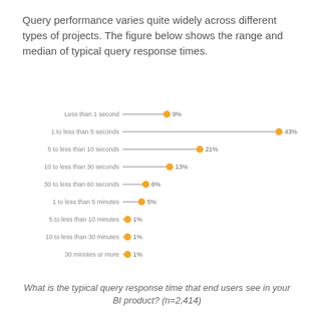Query performance varies quite widely across different types of projects. The figure below shows the range and median of typical query response times.
[Figure (bar-chart): What is the typical query response time that end users see in your BI product? (n=2,414)]
What is the typical query response time that end users see in your BI product? (n=2,414)